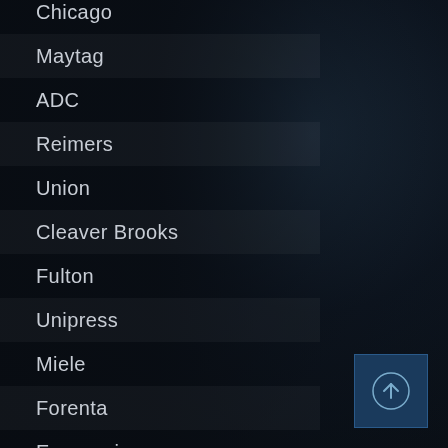Chicago
Maytag
ADC
Reimers
Union
Cleaver Brooks
Fulton
Unipress
Miele
Forenta
Energenics
[Figure (illustration): Scroll to top button with upward arrow icon, dark blue background]